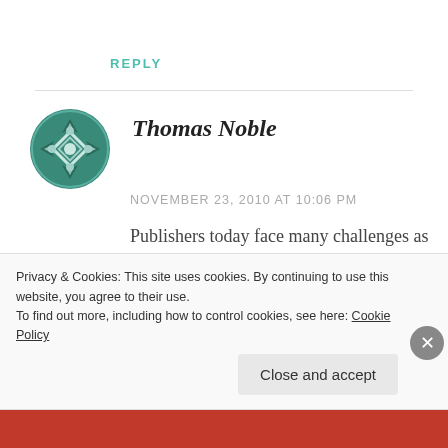REPLY
[Figure (illustration): Avatar icon: teal/dark teal geometric snowflake/diamond pattern circular avatar for user Thomas Noble]
Thomas Noble
NOVEMBER 23, 2010 AT 10:06 PM
Publishers today face many challenges as independent publishers have been increasingly popular. Today’s technology has also greatly changed the old fashioned publishing methods.
Privacy & Cookies: This site uses cookies. By continuing to use this website, you agree to their use.
To find out more, including how to control cookies, see here: Cookie Policy
Close and accept